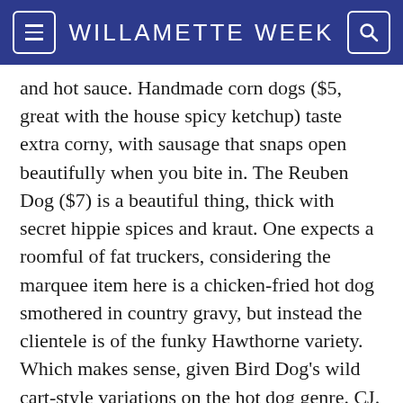WILLAMETTE WEEK
and hot sauce. Handmade corn dogs ($5, great with the house spicy ketchup) taste extra corny, with sausage that snaps open beautifully when you bite in. The Reuben Dog ($7) is a beautiful thing, thick with secret hippie spices and kraut. One expects a roomful of fat truckers, considering the marquee item here is a chicken-fried hot dog smothered in country gravy, but instead the clientele is of the funky Hawthorne variety. Which makes sense, given Bird Dog's wild cart-style variations on the hot dog genre. CJ.